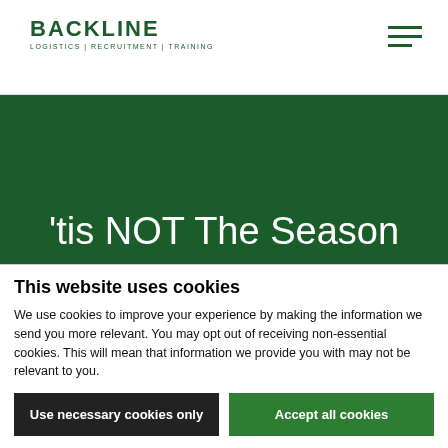BACKLINE LOGISTICS | RECRUITMENT | TRAINING
'tis NOT The Season To Be Jolly
'tis NOT The Season To Be Jolly
This website uses cookies
We use cookies to improve your experience by making the information we send you more relevant. You may opt out of receiving non-essential cookies. This will mean that information we provide you with may not be relevant to you.
Use necessary cookies only | Accept all cookies